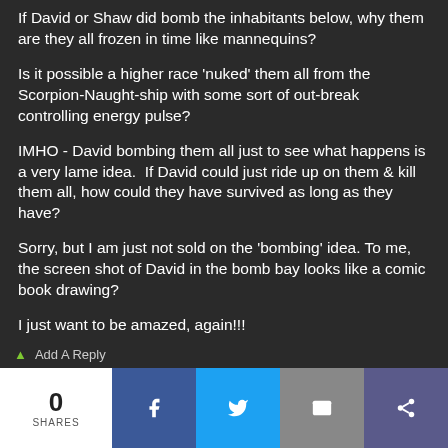If David or Shaw did bomb the inhabitants below, why them are they all frozen in time like mannequins?
Is it possible a higher race 'nuked' them all from the Scorpion-Naught-ship with some sort of outbreak controlling energy pulse?
IMHO - David bombing them all just to see what happens is a very lame idea.  If David could just ride up on them & kill them all, how could they have survived as long as they have?
Sorry, but I am just not sold on the 'bombing' idea. To me, the screen shot of David in the bomb bay looks like a comic book drawing?
I just want to be amazed, again!!!
Add A Reply | 0 SHARES | Facebook | Twitter | Email | More